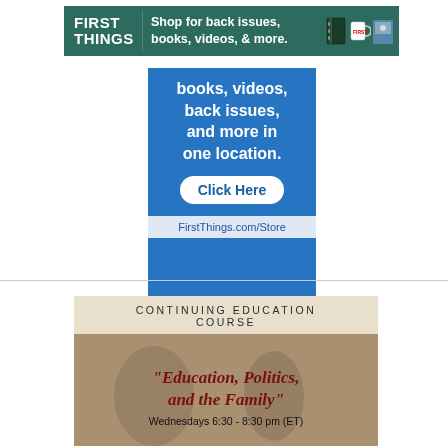[Figure (illustration): First Things banner advertisement: teal/green background with 'FIRST THINGS' logo on left, text 'Shop for back issues, books, videos, & more.' in center, binder and mug icons on right]
[Figure (illustration): Blue box advertisement for FirstThings.com/Store showing text 'books, videos, back issues, and more in one location.' with 'Click Here' button and URL FirstThings.com/Store]
[Figure (illustration): Continuing Education Course advertisement with header 'CONTINUING EDUCATION COURSE' on cream background, then tan/brown background with italic text '"Education, Politics, and the Family"' and 'Wednesdays 6:30 - 8:30 pm (ET)']